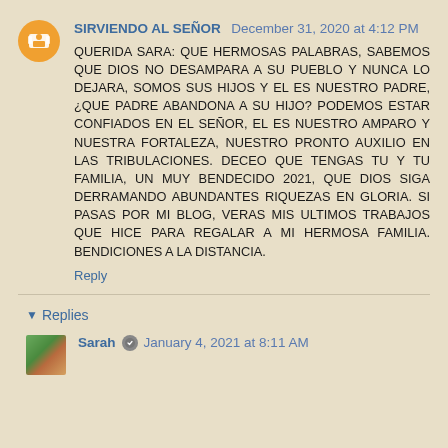SIRVIENDO AL SEÑOR  December 31, 2020 at 4:12 PM
QUERIDA SARA: QUE HERMOSAS PALABRAS, SABEMOS QUE DIOS NO DESAMPARA A SU PUEBLO Y NUNCA LO DEJARA, SOMOS SUS HIJOS Y EL ES NUESTRO PADRE, ¿QUE PADRE ABANDONA A SU HIJO? PODEMOS ESTAR CONFIADOS EN EL SEÑOR, EL ES NUESTRO AMPARO Y NUESTRA FORTALEZA, NUESTRO PRONTO AUXILIO EN LAS TRIBULACIONES. DECEO QUE TENGAS TU Y TU FAMILIA, UN MUY BENDECIDO 2021, QUE DIOS SIGA DERRAMANDO ABUNDANTES RIQUEZAS EN GLORIA. SI PASAS POR MI BLOG, VERAS MIS ULTIMOS TRABAJOS QUE HICE PARA REGALAR A MI HERMOSA FAMILIA. BENDICIONES A LA DISTANCIA.
Reply
▼  Replies
Sarah  January 4, 2021 at 8:11 AM